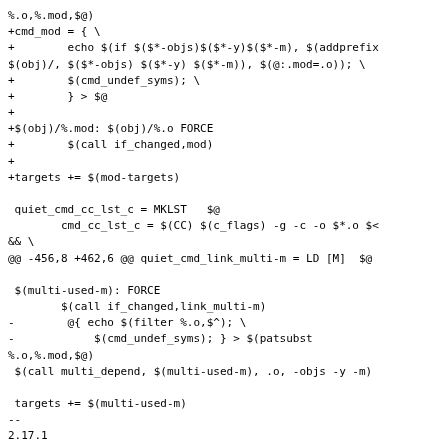%.o,%.mod,$@)
+cmd_mod = { \
+        echo $(if $($*-objs)$($*-y)$($*-m), $(addprefix
$(obj)/, $($*-objs) $($*-y) $($*-m)), $(@:.mod=.o)); \
+        $(cmd_undef_syms); \
+        } > $@
+
+$(obj)/%.mod: $(obj)/%.o FORCE
+        $(call if_changed,mod)
+
+targets += $(mod-targets)

 quiet_cmd_cc_lst_c = MKLST   $@
        cmd_cc_lst_c = $(CC) $(c_flags) -g -c -o $*.o $<
&& \
@@ -456,8 +462,6 @@ quiet_cmd_link_multi-m = LD [M]  $@

 $(multi-used-m): FORCE
        $(call if_changed,link_multi-m)
-        @{ echo $(filter %.o,$^); \
-            $(cmd_undef_syms); } > $(patsubst
%.o,%.mod,$@)
 $(call multi_depend, $(multi-used-m), .o, -objs -y -m)

 targets += $(multi-used-m)
--
2.17.1
^ permalink raw reply   [flat|nested] 17+ messages in